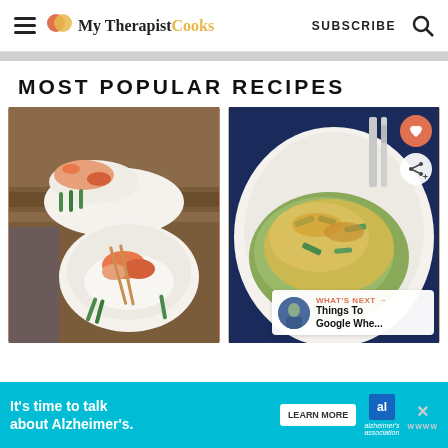My Therapist Cooks — SUBSCRIBE
MOST POPULAR RECIPES
[Figure (photo): Two food photos side by side: left shows shrimp stir-fry with rice in a white bowl with chopsticks and asparagus; right shows a cheesy asparagus casserole on a white plate with a fork, with heart and share action buttons and a 'WHAT'S NEXT' overlay thumbnail.]
WHAT'S NEXT → Things To Google Whe...
It's time to talk about Alzheimer's. LEARN MORE